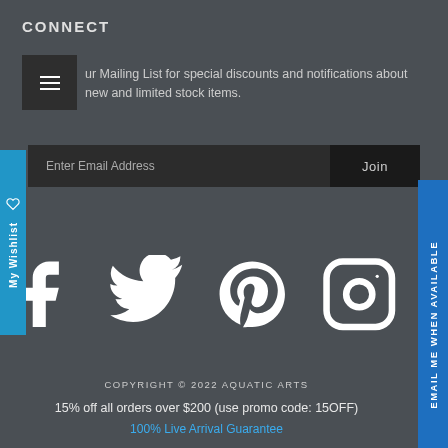CONNECT
ur Mailing List for special discounts and notifications about new and limited stock items.
Enter Email Address    Join
[Figure (other): Social media icons: Facebook, Twitter, Pinterest, Instagram]
COPYRIGHT © 2022 AQUATIC ARTS
15% off all orders over $200 (use promo code: 15OFF)
100% Live Arrival Guarantee